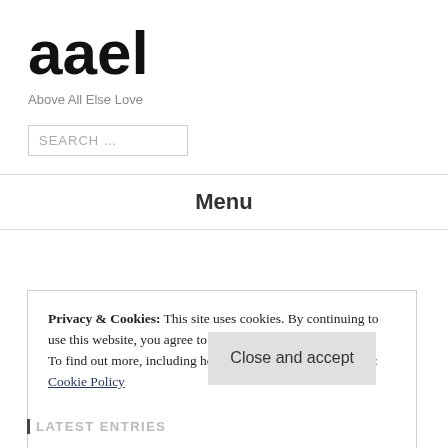aael
Above All Else Love
SEARCH …
Menu
Privacy & Cookies: This site uses cookies. By continuing to use this website, you agree to their use.
To find out more, including how to control cookies, see here: Cookie Policy
Close and accept
LATEST ENTRIES